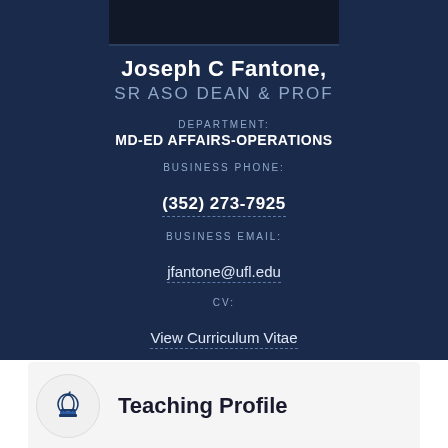[Figure (photo): Partial headshot photo of Joseph C Fantone at top of page]
Joseph C Fantone, SR ASO DEAN & PROF
DEPARTMENT: MD-ED AFFAIRS-OPERATIONS
BUSINESS PHONE: (352) 273-7925
BUSINESS EMAIL: jfantone@ufl.edu
CV: View Curriculum Vitae
Teaching Profile